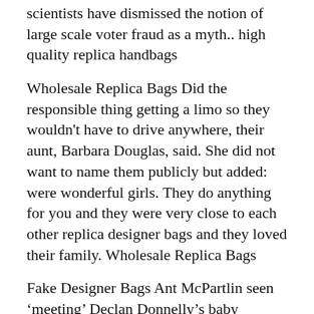scientists have dismissed the notion of large scale voter fraud as a myth.. high quality replica handbags
Wholesale Replica Bags Did the responsible thing getting a limo so they wouldn't have to drive anywhere, their aunt, Barbara Douglas, said. She did not want to name them publicly but added: were wonderful girls. They do anything for you and they were very close to each other replica designer bags and they loved their family. Wholesale Replica Bags
Fake Designer Bags Ant McPartlin seen ‘meeting’ Declan Donnelly’s baby daughter for first time in cute snap but something’s not rightFor a brief second, many thought that moment had finally arrived. Until eagle eyed fans noticed something strangeGet celebs updates directly to your inboxSubscribeSee our privacy noticeMore newslettersThank you for subscribingWe have more newslettersShow meSee our privacy noticeCould not